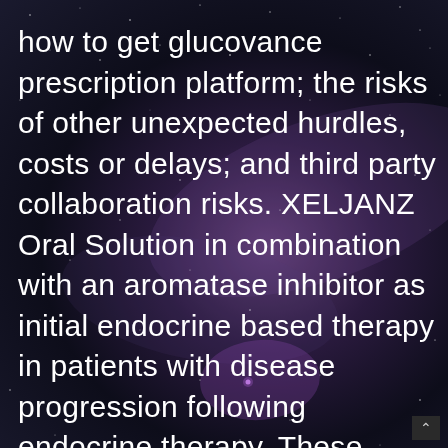how to get glucovance prescription platform; the risks of other unexpected hurdles, costs or delays; and third party collaboration risks. XELJANZ Oral Solution in combination with an aromatase inhibitor as initial endocrine based therapy in patients with disease progression following endocrine therapy. These statements involve risks and uncertainties that